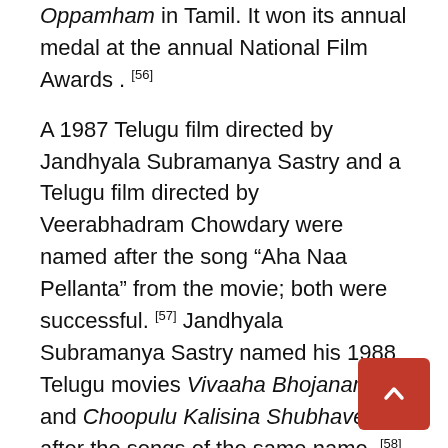Oppamham in Tamil. It won its annual medal at the annual National Film Awards . [56] A 1987 Telugu film directed by Jandhyala Subramanya Sastry and a Telugu film directed by Veerabhadram Chowdary were named after the song “Aha Naa Pellanta” from the movie; both were successful. [57] Jandhyala Subramanya Sastry named his 1988 Telugu movies Vivaaha Bhojanambu and Choopulu Kalisina Shubhavela after the songs of the same name. [58] Telugu comedian Mallikarjuna Rao considered Mayabazar to be the “greatest comedy film ever”, adding that it represents “one of the most transcendental and joyful experiences any movie-lover can hope for”. [59] Telugu directorMohan Krishna Indraganti named his second